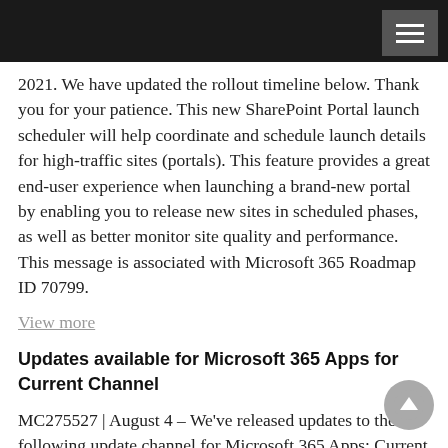[Navigation bar with hamburger menu]
2021. We have updated the rollout timeline below. Thank you for your patience. This new SharePoint Portal launch scheduler will help coordinate and schedule launch details for high-traffic sites (portals). This feature provides a great end-user experience when launching a brand-new portal by enabling you to release new sites in scheduled phases, as well as better monitor site quality and performance. This message is associated with Microsoft 365 Roadmap ID 70799.
View more
Updates available for Microsoft 365 Apps for Current Channel
MC275527 | August 4 – We've released updates to the following update channel for Microsoft 365 Apps: Current Channel